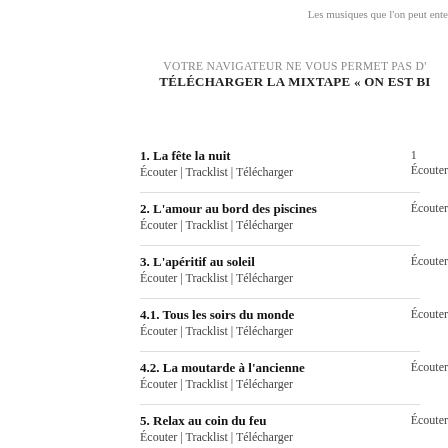Les musiques que l'on peut ente
VOTRE NAVIGATEUR NE VOUS PERMET PAS D'
TÉLÉCHARGER LA MIXTAPE « ON EST BI
1. La fête la nuit
Écouter | Tracklist | Télécharger
2. L'amour au bord des piscines
Écouter | Tracklist | Télécharger
3. L'apéritif au soleil
Écouter | Tracklist | Télécharger
4.1. Tous les soirs du monde
Écouter | Tracklist | Télécharger
4.2. La moutarde à l'ancienne
Écouter | Tracklist | Télécharger
5. Relax au coin du feu
Écouter | Tracklist | Télécharger